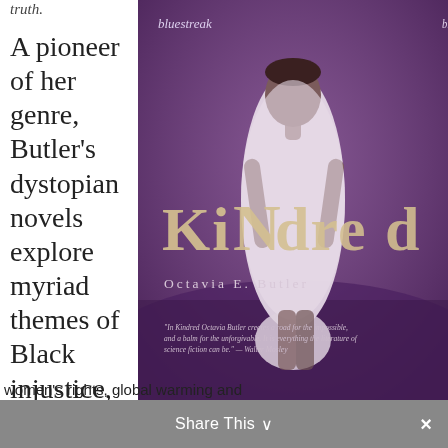truth.
A pioneer of her genre, Butler's dystopian novels explore myriad themes of Black injustice,
[Figure (photo): Book cover of 'Kindred' by Octavia E. Butler, published by Bluestreak. Purple-toned photo of a Black woman in a white dress standing in a field. Title 'KiNdred' in large letters, author name 'Octavia E. Butler' below. Quote at bottom: 'In Kindred Octavia Butler creates a road for the impossible, and a balm for the unforgivable. It is everything the literature of science fiction can be.' — Walter Mosley]
women's rights, global warming and
Share This ∨
×